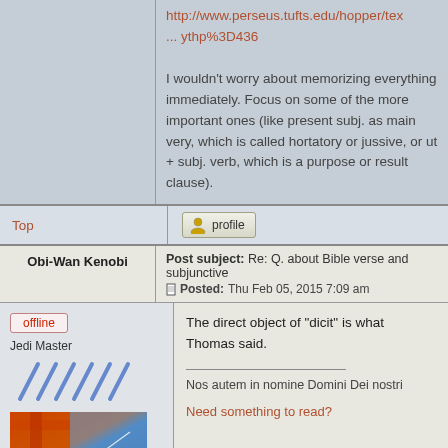http://www.perseus.tufts.edu/hopper/tex... ythp%3D436
I wouldn't worry about memorizing everything immediately. Focus on some of the more important ones (like present subj. as main very, which is called hortatory or jussive, or ut + subj. verb, which is a purpose or result clause).
Top
profile
Obi-Wan Kenobi
Post subject: Re: Q. about Bible verse and subjunctive
Posted: Thu Feb 05, 2015 7:09 am
offline
Jedi Master
The direct object of "dicit" is what Thomas said.
Nos autem in nomine Domini Dei nostri
Need something to read?